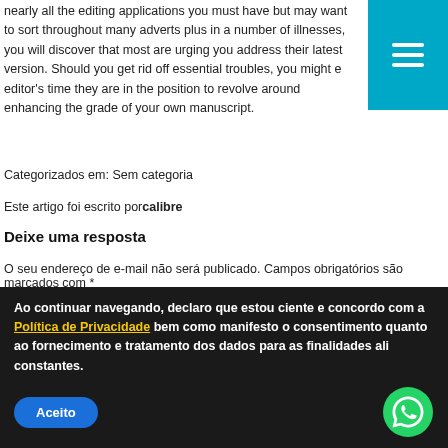nearly all the editing applications you must have but may want to sort throughout many adverts plus in a number of illnesses, you will discover that most are urging you address their latest version. Should you get rid off essential troubles, you might e editor's time they are in the position to revolve around enhancing the grade of your own manuscript.
Categorizados em: Sem categoria
Este artigo foi escrito porcalibre
Deixe uma resposta
O seu endereço de e-mail não será publicado. Campos obrigatórios são marcados com *
Comentário
Ao continuar navegando, declaro que estou ciente e concordo com a Política de Privacidade bem como manifesto o consentimento quanto ao fornecimento e tratamento dos dados para as finalidades ali constantes.